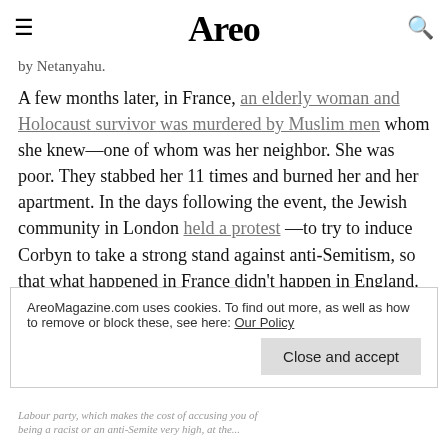Areo
by Netanyahu.
A few months later, in France, an elderly woman and Holocaust survivor was murdered by Muslim men whom she knew—one of whom was her neighbor. She was poor. They stabbed her 11 times and burned her and her apartment. In the days following the event, the Jewish community in London held a protest —to try to induce Corbyn to take a strong stand against anti-Semitism, so that what happened in France didn't happen in England.
AreoMagazine.com uses cookies. To find out more, as well as how to remove or block these, see here: Our Policy
Close and accept